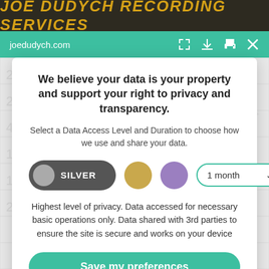JOE DUDYCH RECORDING SERVICES
joedudych.com
We believe your data is your property and support your right to privacy and transparency.
Select a Data Access Level and Duration to choose how we use and share your data.
SILVER | 1 month
Highest level of privacy. Data accessed for necessary basic operations only. Data shared with 3rd parties to ensure the site is secure and works on your device
Save my preferences
Customize
Privacy policy